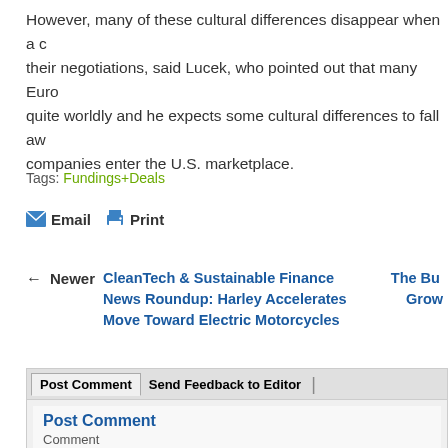However, many of these cultural differences disappear when a company begins their negotiations, said Lucek, who pointed out that many Europeans are quite worldly and he expects some cultural differences to fall away as more companies enter the U.S. marketplace.
Tags: Fundings+Deals
Email  Print
← Newer  CleanTech & Sustainable Finance News Roundup: Harley Accelerates Move Toward Electric Motorcycles
The Bu... Grow...
Post Comment  Send Feedback to Editor  |
Post Comment
Comment